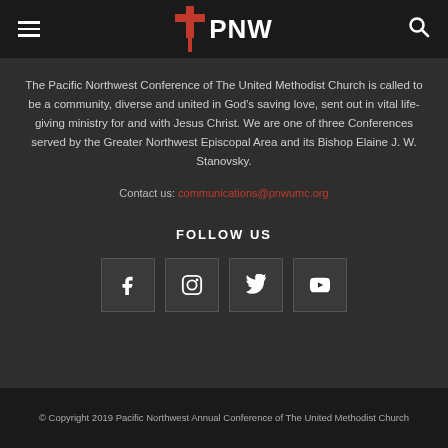PNW (Pacific Northwest Conference logo with hamburger menu and search icon)
The Pacific Northwest Conference of The United Methodist Church is called to be a community, diverse and united in God's saving love, sent out in vital life-giving ministry for and with Jesus Christ. We are one of three Conferences served by the Greater Northwest Episcopal Area and its Bishop Elaine J. W. Stanovsky.
Contact us: communications@pnwumc.org
FOLLOW US
[Figure (infographic): Four social media icon buttons: Facebook, Instagram, Twitter, YouTube]
© Copyright 2019 Pacific Northwest Annual Conference of The United Methodist Church